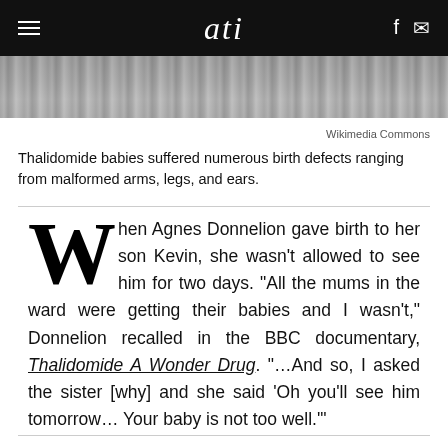ati
[Figure (photo): Grayscale photo strip, partially visible, dark tones]
Wikimedia Commons
Thalidomide babies suffered numerous birth defects ranging from malformed arms, legs, and ears.
When Agnes Donnelion gave birth to her son Kevin, she wasn't allowed to see him for two days. “All the mums in the ward were getting their babies and I wasn’t,” Donnelion recalled in the BBC documentary, Thalidomide A Wonder Drug. “…And so, I asked the sister [why] and she said ‘Oh you’ll see him tomorrow… Your baby is not too well.’”